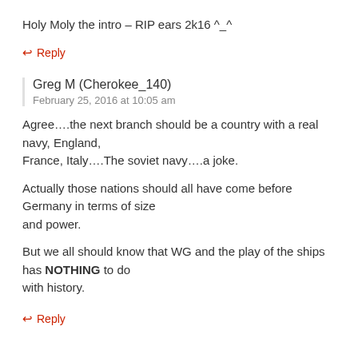Holy Moly the intro – RIP ears 2k16 ^_^
↩ Reply
Greg M (Cherokee_140)
February 25, 2016 at 10:05 am
Agree….the next branch should be a country with a real navy, England,
France, Italy….The soviet navy….a joke.
Actually those nations should all have come before Germany in terms of size
and power.
But we all should know that WG and the play of the ships has NOTHING to do
with history.
↩ Reply